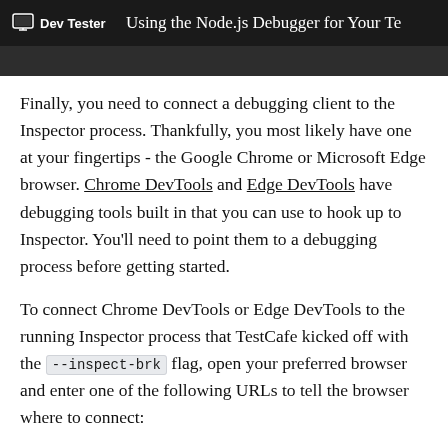Dev Tester  Using the Node.js Debugger for Your Te…
Finally, you need to connect a debugging client to the Inspector process. Thankfully, you most likely have one at your fingertips - the Google Chrome or Microsoft Edge browser. Chrome DevTools and Edge DevTools have debugging tools built in that you can use to hook up to Inspector. You'll need to point them to a debugging process before getting started.
To connect Chrome DevTools or Edge DevTools to the running Inspector process that TestCafe kicked off with the --inspect-brk flag, open your preferred browser and enter one of the following URLs to tell the browser where to connect: